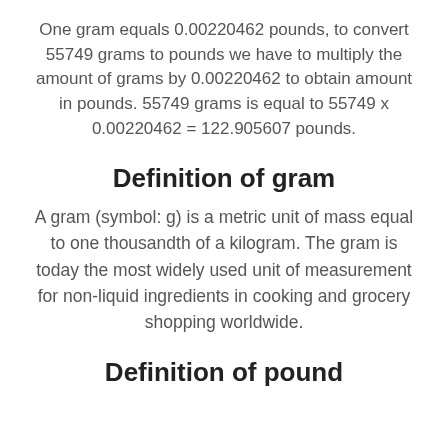One gram equals 0.00220462 pounds, to convert 55749 grams to pounds we have to multiply the amount of grams by 0.00220462 to obtain amount in pounds. 55749 grams is equal to 55749 x 0.00220462 = 122.905607 pounds.
Definition of gram
A gram (symbol: g) is a metric unit of mass equal to one thousandth of a kilogram. The gram is today the most widely used unit of measurement for non-liquid ingredients in cooking and grocery shopping worldwide.
Definition of pound